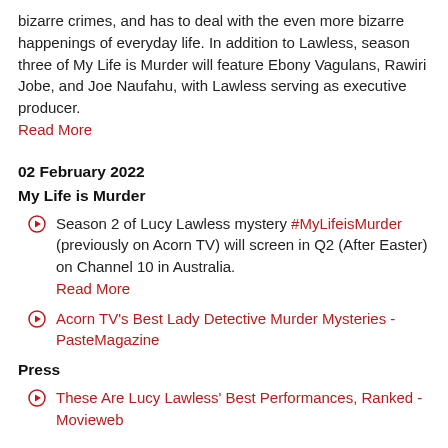bizarre crimes, and has to deal with the even more bizarre happenings of everyday life. In addition to Lawless, season three of My Life is Murder will feature Ebony Vagulans, Rawiri Jobe, and Joe Naufahu, with Lawless serving as executive producer.
Read More
02 February 2022
My Life is Murder
Season 2 of Lucy Lawless mystery #MyLifeisMurder (previously on Acorn TV) will screen in Q2 (After Easter) on Channel 10 in Australia. Read More
Acorn TV's Best Lady Detective Murder Mysteries - PasteMagazine
Press
These Are Lucy Lawless' Best Performances, Ranked - Movieweb